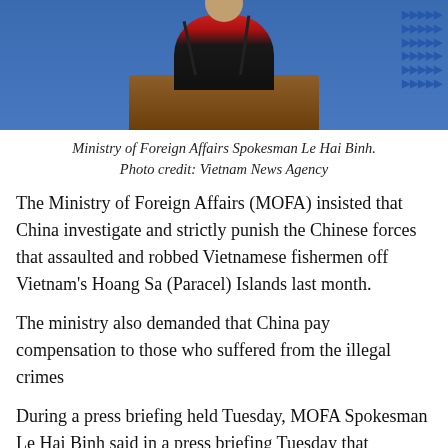[Figure (photo): Ministry of Foreign Affairs Spokesman Le Hai Binh speaking at a podium with microphones, blue background with arrow graphics.]
Ministry of Foreign Affairs Spokesman Le Hai Binh. Photo credit: Vietnam News Agency
The Ministry of Foreign Affairs (MOFA) insisted that China investigate and strictly punish the Chinese forces that assaulted and robbed Vietnamese fishermen off Vietnam's Hoang Sa (Paracel) Islands last month.
The ministry also demanded that China pay compensation to those who suffered from the illegal crimes
During a press briefing held Tuesday, MOFA Spokesman Le Hai Binh said in a press briefing Tuesday that ministry representatives had met with representatives of the Chinese Embassy in Hanoi to hand-deliver a note of protest.
“The acts violated Vietnam’s sovereignty, sovereign rights and jurisdiction in the East Sea in addition to